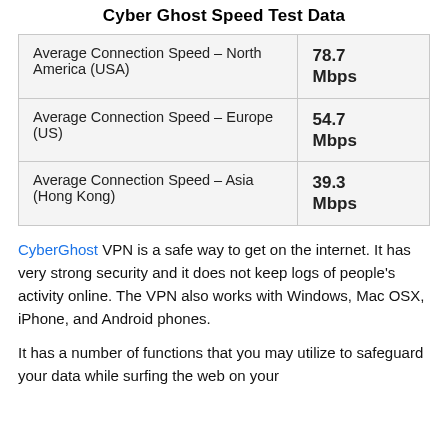Cyber Ghost Speed Test Data
| Average Connection Speed – North America (USA) | 78.7 Mbps |
| Average Connection Speed – Europe (US) | 54.7 Mbps |
| Average Connection Speed – Asia (Hong Kong) | 39.3 Mbps |
CyberGhost VPN is a safe way to get on the internet. It has very strong security and it does not keep logs of people's activity online. The VPN also works with Windows, Mac OSX, iPhone, and Android phones.
It has a number of functions that you may utilize to safeguard your data while surfing the web on your